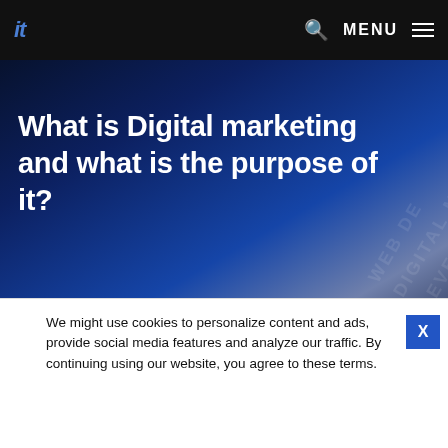it  🔍  MENU ☰
What is Digital marketing and what is the purpose of it?
April 16, 2019
Home › Blog › What is Digital marketing and what is th...
We might use cookies to personalize content and ads, provide social media features and analyze our traffic. By continuing using our website, you agree to these terms.